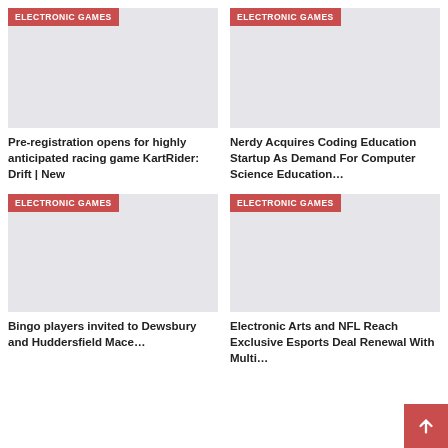[Figure (screenshot): News article grid layout with four cards, each showing an ELECTRONIC GAMES tag and a placeholder image]
Pre-registration opens for highly anticipated racing game KartRider: Drift | New
Nerdy Acquires Coding Education Startup As Demand For Computer Science Education…
Bingo players invited to Dewsbury and Huddersfield Mace…
Electronic Arts and NFL Reach Exclusive Esports Deal Renewal With Multi…